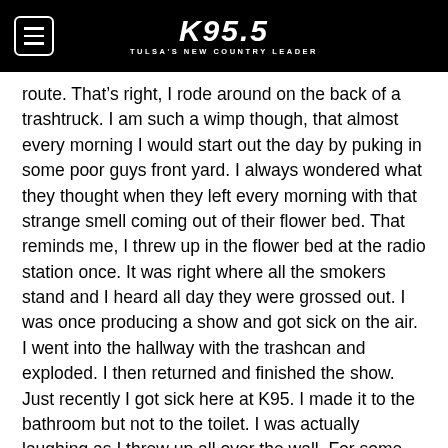K95.5 TULSA'S NEW COUNTRY LEADER
route. That’s right, I rode around on the back of a trashtruck. I am such a wimp though, that almost every morning I would start out the day by puking in some poor guys front yard. I always wondered what they thought when they left every morning with that strange smell coming out of their flower bed. That reminds me, I threw up in the flower bed at the radio station once. It was right where all the smokers stand and I heard all day they were grossed out. I was once producing a show and got sick on the air. I went into the hallway with the trashcan and exploded. I then returned and finished the show. Just recently I got sick here at K95. I made it to the bathroom but not to the toilet. I was actually laughing as I threw up all over the wall. For some reason God gave me a warped sense of humor. I find humor in just about everything!